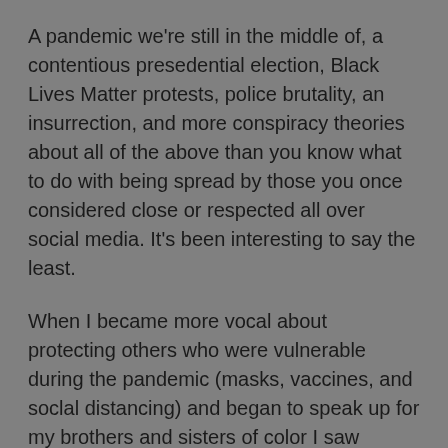A pandemic we're still in the middle of, a contentious presedential election, Black Lives Matter protests, police brutality, an insurrection, and more conspiracy theories about all of the above than you know what to do with being spread by those you once considered close or respected all over social media. It's been interesting to say the least.
When I became more vocal about protecting others who were vulnerable during the pandemic (masks, vaccines, and soclal distancing) and began to speak up for my brothers and sisters of color I saw people who I thought were friends or who I at least respected get ruffled and up in arms about anything I said. There were some who blocked me on social medial all together, some that I didn't find out until much later had unfriended me, and some I had to set strong boundaries with in order to